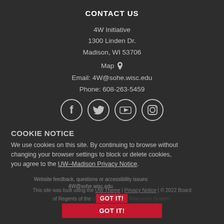CONTACT US
4W Initiative
1300 Linden Dr.
Madison, WI 53706
Map 📍
Email: 4W@sohe.wisc.edu
Phone: 608-263-5459
[Figure (illustration): Four circular social media icons: Facebook, Twitter, YouTube, Instagram]
COOKIE NOTICE
We use cookies on this site. By continuing to browse without changing your browser settings to block or delete cookies, you agree to the UW–Madison Privacy Notice.
Website feedback, questions or accessibility issues: 4W@sohe.wisc.edu.
This site was built using the UW Theme | Privacy Notice | © 2022 Board of Regents of the University of Wisconsin System.
GOT IT!